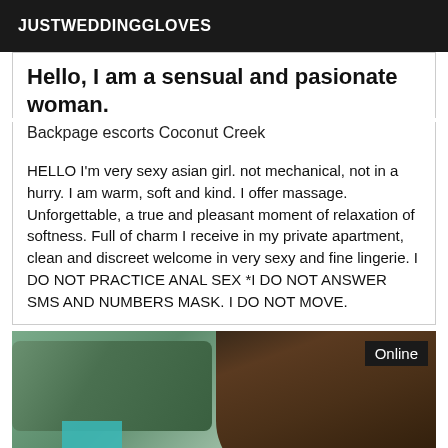JUSTWEDDINGGLOVES
Hello, I am a sensual and pasionate woman.
Backpage escorts Coconut Creek
HELLO I'm very sexy asian girl. not mechanical, not in a hurry. I am warm, soft and kind. I offer massage. Unforgettable, a true and pleasant moment of relaxation of softness. Full of charm I receive in my private apartment, clean and discreet welcome in very sexy and fine lingerie. I DO NOT PRACTICE ANAL SEX *I DO NOT ANSWER SMS AND NUMBERS MASK. I DO NOT MOVE.
[Figure (photo): Photo of a person with long dark hair, partially visible, with a car and teal colored object in background. An 'Online' badge appears in the top right corner.]